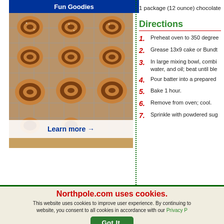[Figure (photo): Grid of cinnamon roll pastries on a wire rack with 'Fun Goodies' banner and 'Learn more →' link]
1 package (12 ounce) chocolate
Directions
1. Preheat oven to 350 degree
2. Grease 13x9 cake or Bundt
3. In large mixing bowl, combi water, and oil; beat until ble
4. Pour batter into a prepared
5. Bake 1 hour.
6. Remove from oven; cool.
7. Sprinkle with powdered sug
Northpole.com uses cookies. This website uses cookies to improve user experience. By continuing to website, you consent to all cookies in accordance with our Privacy P
Got It.